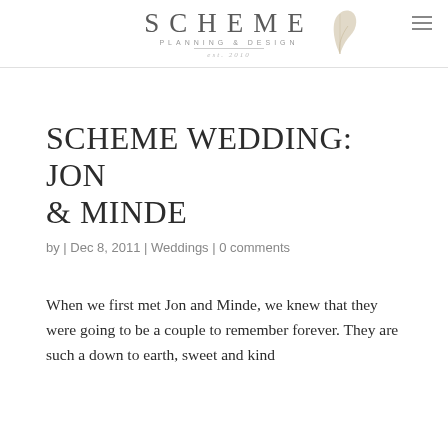SCHEME PLANNING & DESIGN est. 2010
SCHEME WEDDING: JON & MINDE
by | Dec 8, 2011 | Weddings | 0 comments
When we first met Jon and Minde, we knew that they were going to be a couple to remember forever. They are such a down to earth, sweet and kind